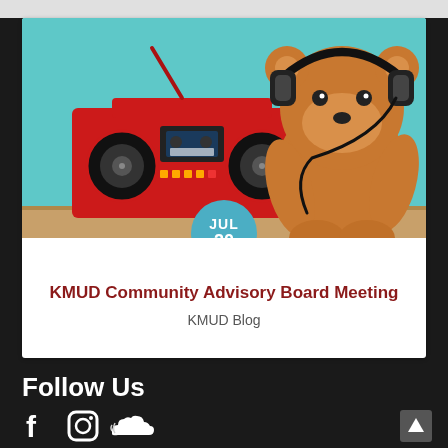[Figure (photo): Photo of a teddy bear wearing headphones sitting next to a red boombox, against a teal/cyan background. A circular date badge shows JUL 20 overlapping the bottom of the photo.]
KMUD Community Advisory Board Meeting
KMUD Blog
Follow Us